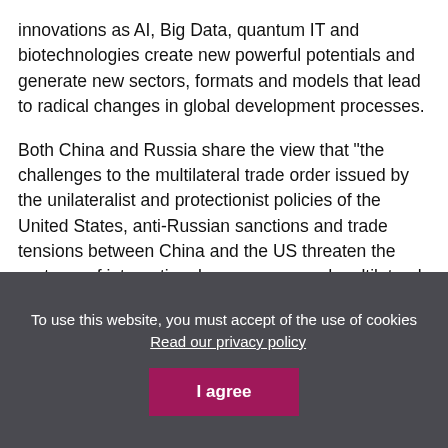innovations as AI, Big Data, quantum IT and biotechnologies create new powerful potentials and generate new sectors, formats and models that lead to radical changes in global development processes.
Both China and Russia share the view that "the challenges to the multilateral trade order issued by the unilateralist and protectionist policies of the United States, anti-Russian sanctions and trade tensions between China and the US threaten the systems of international governance and multilateral trade, as
To use this website, you must accept of the use of cookies   Read our privacy policy
I agree